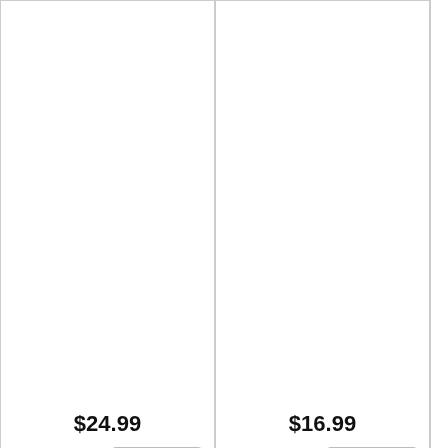$24.99
Login to Buy | More Info
$16.99
Login to Buy | More Info
Login to Buy
HOME
Home Page
Contact Us
Privacy Policy
Shipping Information
Terms of Use
USER ACCOUNTS
View Previous Orders
View Saved Orders
Update Details
View Current Order
PU
Rai
Cap
Per
Don
Bla
QEI
Har
New